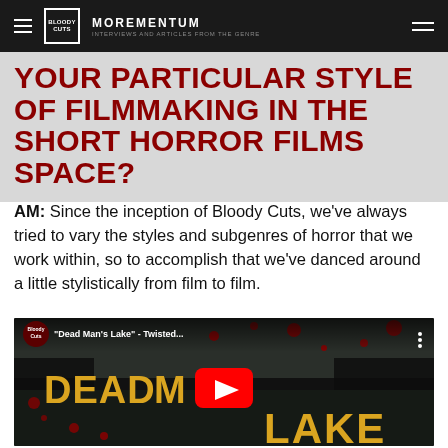MOREMENTUM
YOUR PARTICULAR STYLE OF FILMMAKING IN THE SHORT HORROR FILMS SPACE?
AM: Since the inception of Bloody Cuts, we've always tried to vary the styles and subgenres of horror that we work within, so to accomplish that we've danced around a little stylistically from film to film.
[Figure (screenshot): YouTube video thumbnail for 'Dead Man's Lake - Twisted...' from Bloody Cuts channel. Shows a dark horror-themed image with yellow bold text reading DEAD MAN'S LAKE and blood splatter. A red YouTube play button is visible in the center.]